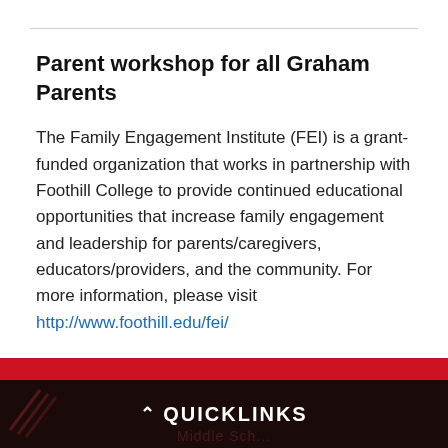Parent workshop for all Graham Parents
The Family Engagement Institute (FEI) is a grant-funded organization that works in partnership with Foothill College to provide continued educational opportunities that increase family engagement and leadership for parents/caregivers, educators/providers, and the community. For more information, please visit http://www.foothill.edu/fei/
^ QUICKLINKS